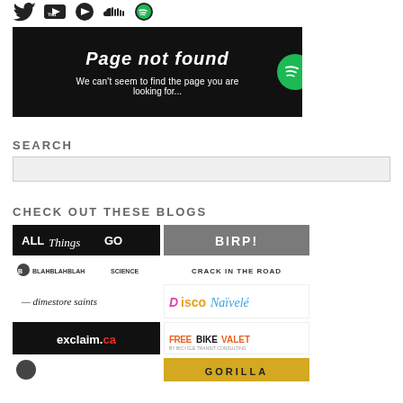[Figure (other): Row of social media icons: Twitter, YouTube, play button, SoundCloud, Spotify]
[Figure (screenshot): Black banner showing 'Page not found' with subtitle 'We can't seem to find the page you are looking for' and Spotify green circle logo on right]
SEARCH
[Figure (other): Search input box (empty, light gray background)]
CHECK OUT THESE BLOGS
[Figure (other): Grid of blog logos: ALL Things GO, BIRP!, BlahBlahBlahScience, CRACK IN THE ROAD, dimestore saints, Disco Naïvelé, exclaim.ca, FREE BIKE VALET, partial gorilla logo]